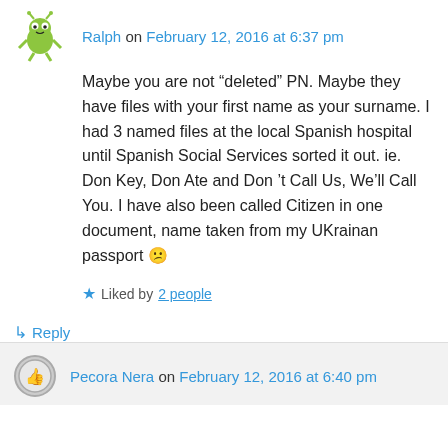Ralph on February 12, 2016 at 6:37 pm
Maybe you are not “deleted” PN. Maybe they have files with your first name as your surname. I had 3 named files at the local Spanish hospital until Spanish Social Services sorted it out. ie. Don Key, Don Ate and Don ’t Call Us, We’ll Call You. I have also been called Citizen in one document, name taken from my UKrainan passport 😕
Liked by 2 people
↳ Reply
Pecora Nera on February 12, 2016 at 6:40 pm